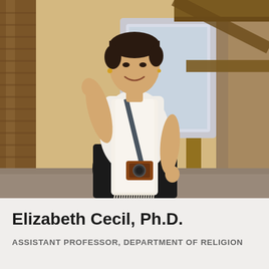[Figure (photo): A woman with short dark hair, wearing a white t-shirt and a long cream-colored fringed scarf, with a camera bag strap across her body. She is standing at an ancient temple or historic stone structure, leaning against an ornately carved column. In the background are decorative stone arches and woodwork, with daylight visible through openings.]
Elizabeth Cecil, Ph.D.
ASSISTANT PROFESSOR, DEPARTMENT OF RELIGION